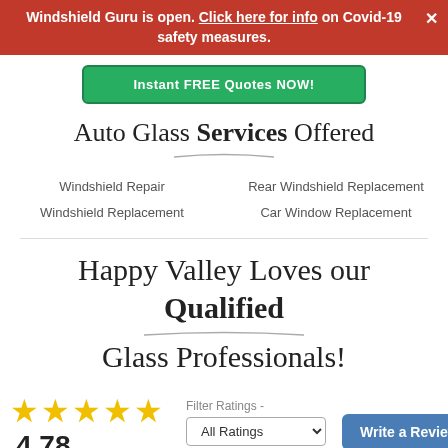Windshield Guru is open. Click here for info on Covid-19 safety measures.
[Figure (screenshot): Green CTA button reading 'Instant FREE Quotes NOW!']
Auto Glass Services Offered
Windshield Repair
Windshield Replacement
Rear Windshield Replacement
Car Window Replacement
Happy Valley Loves our Qualified Glass Professionals!
★★★★★ 4.78 out of 5 stars 9 customer reviews
Filter Ratings - All Ratings
Write a Review